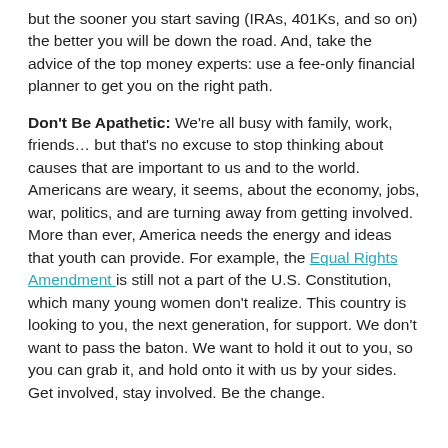but the sooner you start saving (IRAs, 401Ks, and so on) the better you will be down the road. And, take the advice of the top money experts: use a fee-only financial planner to get you on the right path.
Don't Be Apathetic: We're all busy with family, work, friends… but that's no excuse to stop thinking about causes that are important to us and to the world. Americans are weary, it seems, about the economy, jobs, war, politics, and are turning away from getting involved. More than ever, America needs the energy and ideas that youth can provide. For example, the Equal Rights Amendment is still not a part of the U.S. Constitution, which many young women don't realize. This country is looking to you, the next generation, for support. We don't want to pass the baton. We want to hold it out to you, so you can grab it, and hold onto it with us by your sides. Get involved, stay involved. Be the change.